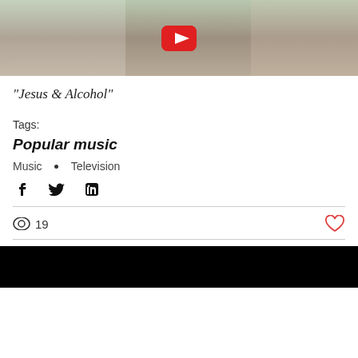[Figure (screenshot): YouTube video thumbnail with red play button, showing people outside a white building]
"Jesus & Alcohol"
Tags:
Popular music
Music • Television
[Figure (infographic): Share icons: Facebook, Twitter, LinkedIn]
19 views, like button
[Figure (photo): Black thumbnail image at bottom of page]